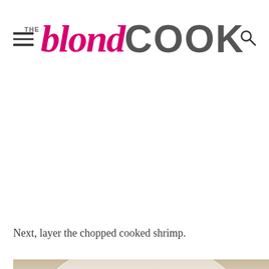THE blond COOK
[Figure (photo): White blank advertising space]
Next, layer the chopped cooked shrimp.
[Figure (photo): Food photo showing chopped cooked shrimp in a dish, partially visible at bottom of page with a close/dismiss button overlay]